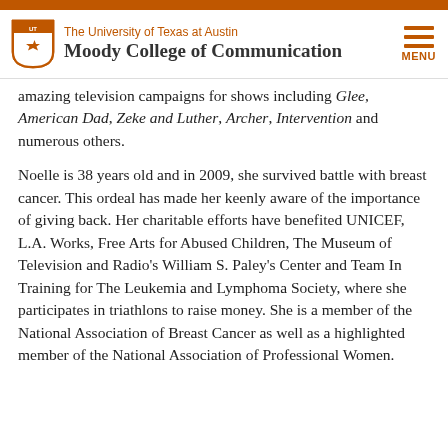The University of Texas at Austin Moody College of Communication
amazing television campaigns for shows including Glee, American Dad, Zeke and Luther, Archer, Intervention and numerous others.
Noelle is 38 years old and in 2009, she survived battle with breast cancer. This ordeal has made her keenly aware of the importance of giving back. Her charitable efforts have benefited UNICEF, L.A. Works, Free Arts for Abused Children, The Museum of Television and Radio's William S. Paley's Center and Team In Training for The Leukemia and Lymphoma Society, where she participates in triathlons to raise money. She is a member of the National Association of Breast Cancer as well as a highlighted member of the National Association of Professional Women.